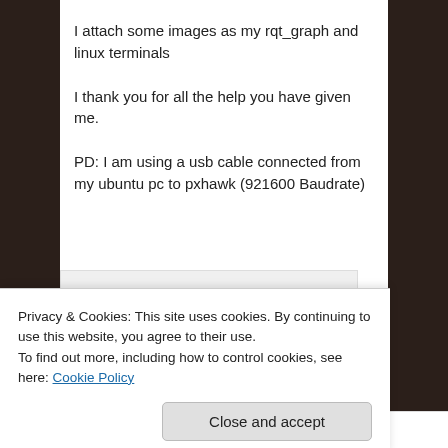I attach some images as my rqt_graph and linux terminals
I thank you for all the help you have given me.
PD: I am using a usb cable connected from my ubuntu pc to pxhawk (921600 Baudrate)
[Figure (screenshot): Advertisement image with a green 'Get App' button and a screenshot of a linux terminal below]
Privacy & Cookies: This site uses cookies. By continuing to use this website, you agree to their use.
To find out more, including how to control cookies, see here: Cookie Policy
Close and accept
7,044